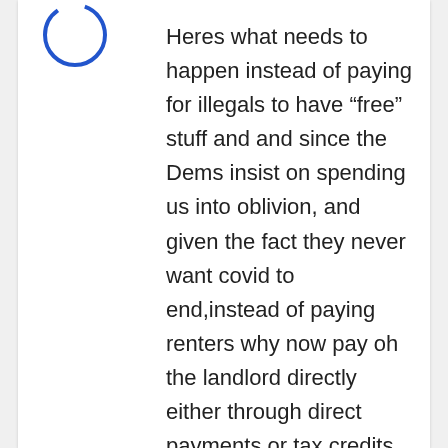[Figure (illustration): Partial blue circle/avatar icon in upper left corner]
Heres what needs to happen instead of paying for illegals to have “free” stuff and and since the Dems insist on spending us into oblivion, and given the fact they never want covid to end,instead of paying renters why now pay oh the landlord directly either through direct payments or tax credits of some sort the property owner is the one taking the hit in more than one way,when something breaks or needs repairing he or she is responsible so in actually the